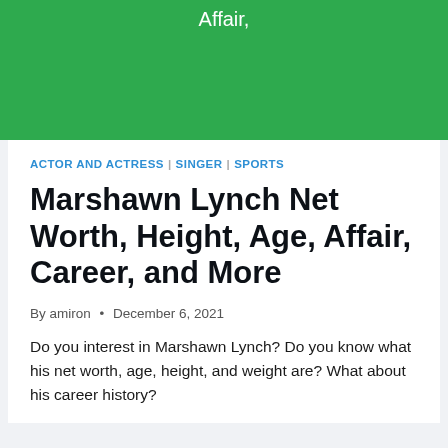[Figure (other): Green banner with partial article title text 'Affair,' in white]
ACTOR AND ACTRESS | SINGER | SPORTS
Marshawn Lynch Net Worth, Height, Age, Affair, Career, and More
By amiron • December 6, 2021
Do you interest in Marshawn Lynch? Do you know what his net worth, age, height, and weight are? What about his career history?